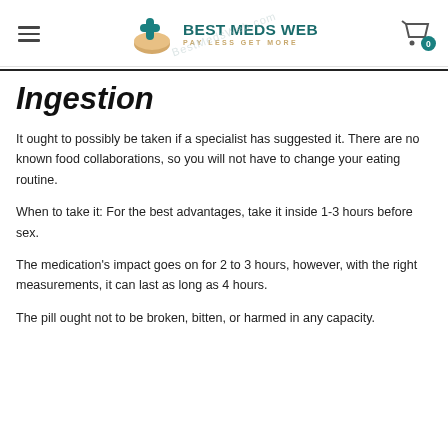Best Meds Web — Pay Less Get More
Ingestion
It ought to possibly be taken if a specialist has suggested it. There are no known food collaborations, so you will not have to change your eating routine.
When to take it: For the best advantages, take it inside 1-3 hours before sex.
The medication's impact goes on for 2 to 3 hours, however, with the right measurements, it can last as long as 4 hours.
The pill ought not to be broken, bitten, or harmed in any capacity.